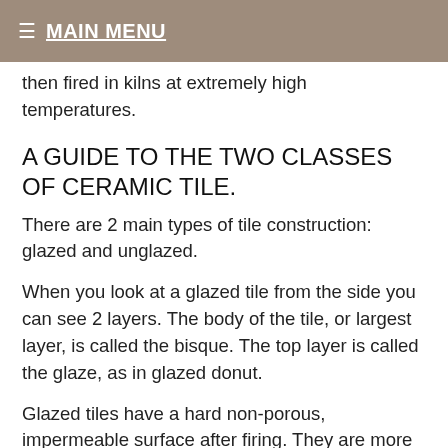☰ MAIN MENU
then fired in kilns at extremely high temperatures.
A GUIDE TO THE TWO CLASSES OF CERAMIC TILE.
There are 2 main types of tile construction: glazed and unglazed.
When you look at a glazed tile from the side you can see 2 layers. The body of the tile, or largest layer, is called the bisque. The top layer is called the glaze, as in glazed donut.
Glazed tiles have a hard non-porous, impermeable surface after firing. They are more stain resistant than unglazed tile and are easy to clean. Something to consider for those more active areas of your home like the kitchen and baths.
Unglazed tiles add a whole different beauty to your